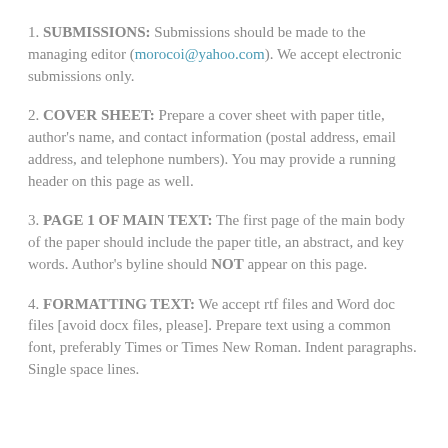1. SUBMISSIONS: Submissions should be made to the managing editor (morocoi@yahoo.com). We accept electronic submissions only.
2. COVER SHEET: Prepare a cover sheet with paper title, author's name, and contact information (postal address, email address, and telephone numbers). You may provide a running header on this page as well.
3. PAGE 1 OF MAIN TEXT: The first page of the main body of the paper should include the paper title, an abstract, and key words. Author's byline should NOT appear on this page.
4. FORMATTING TEXT: We accept rtf files and Word doc files [avoid docx files, please]. Prepare text using a common font, preferably Times or Times New Roman. Indent paragraphs. Single space lines.